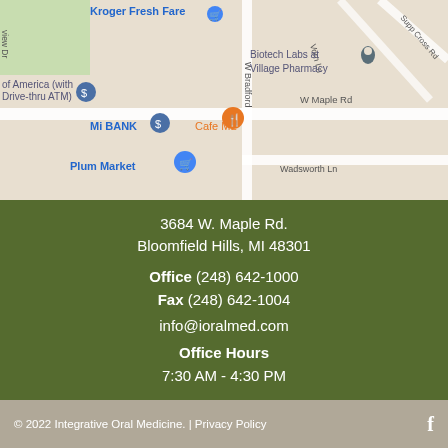[Figure (map): Google Maps screenshot showing area near 3684 W. Maple Rd, Bloomfield Hills, MI with landmarks including Kroger Fresh Fare, Biotech Labs at Village Pharmacy, Bank of America with Drive-thru ATM, Mi BANK, Cafe ML, Plum Market, and street labels including W Maple Rd, W Bradford, Wadsworth Ln, Vorn Ln, Supp Cross Rd.]
3684 W. Maple Rd.
Bloomfield Hills, MI 48301
Office (248) 642-1000
Fax (248) 642-1004
info@ioralmed.com
Office Hours
7:30 AM - 4:30 PM
© 2022 Integrative Oral Medicine. | Privacy Policy